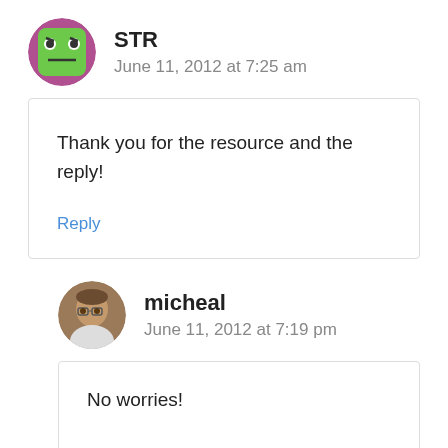[Figure (illustration): Green angry face avatar icon with pink/purple border, circular shape]
STR
June 11, 2012 at 7:25 am
Thank you for the resource and the reply!
Reply
[Figure (photo): Circular avatar photo of a man with glasses and gray hair]
micheal
June 11, 2012 at 7:19 pm
No worries!